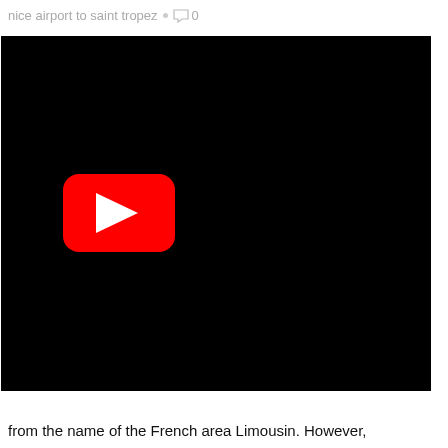nice airport to saint tropez · ○ 0
[Figure (screenshot): Black video thumbnail with YouTube play button (red rounded rectangle with white triangle) positioned in lower-left area of the black frame]
from the name of the French area Limousin. However,